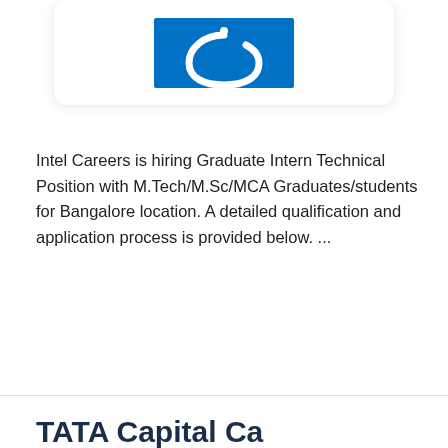[Figure (logo): Intel logo on blue background, white swoosh symbol visible]
Intel Careers is hiring Graduate Intern Technical Position with M.Tech/M.Sc/MCA Graduates/students for Bangalore location. A detailed qualification and application process is provided below. ...
Read more
TATA Capital Ca...